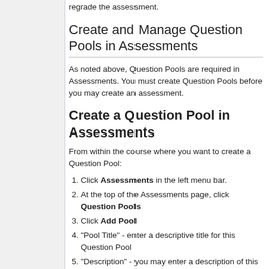regrade the assessment.
Create and Manage Question Pools in Assessments
As noted above, Question Pools are required in Assessments. You must create Question Pools before you may create an assessment.
Create a Question Pool in Assessments
From within the course where you want to create a Question Pool:
Click Assessments in the left menu bar.
At the top of the Assessments page, click Question Pools
Click Add Pool
"Pool Title" - enter a descriptive title for this Question Pool
"Description" - you may enter a description of this pool if desired. The